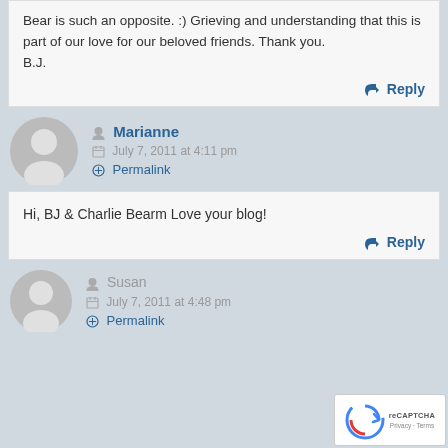Bear is such an opposite. :) Grieving and understanding that this is part of our love for our beloved friends. Thank you.
B.J.
Reply
Marianne
July 7, 2011 at 4:11 pm
Permalink
Hi, BJ & Charlie Bearm Love your blog!
Reply
Susan
July 7, 2011 at 4:48 pm
Permalink